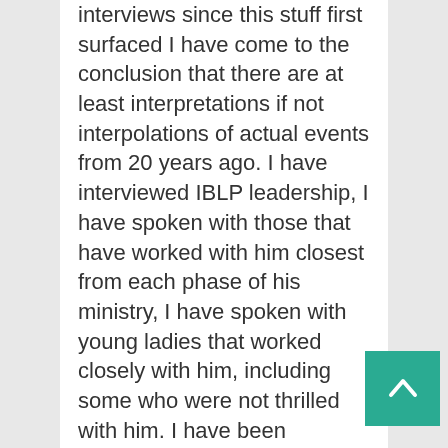interviews since this stuff first surfaced I have come to the conclusion that there are at least interpretations if not interpolations of actual events from 20 years ago. I have interviewed IBLP leadership, I have spoken with those that have worked with him closest from each phase of his ministry, I have spoken with young ladies that worked closely with him, including some who were not thrilled with him. I have been privileged to review some of the hard evidence that is available for a number of these accusers, statements made prior and even after allegations were made in public that completely contradict their positions.